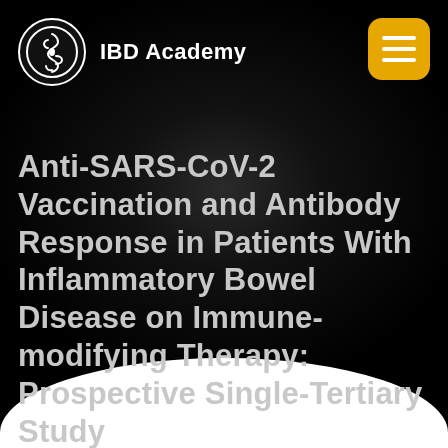IBD Academy
Anti-SARS-CoV-2 Vaccination and Antibody Response in Patients With Inflammatory Bowel Disease on Immune-modifying Therapy: Prospective Single-Tertiary Study